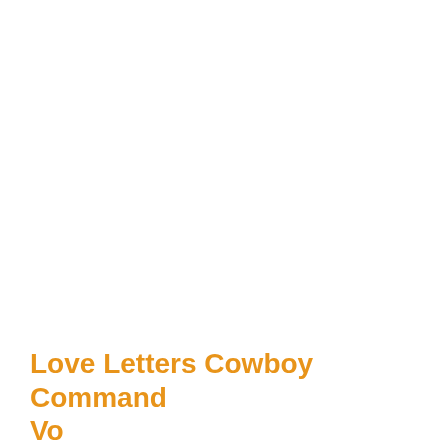Love Letters Cowboy Command Volume 2